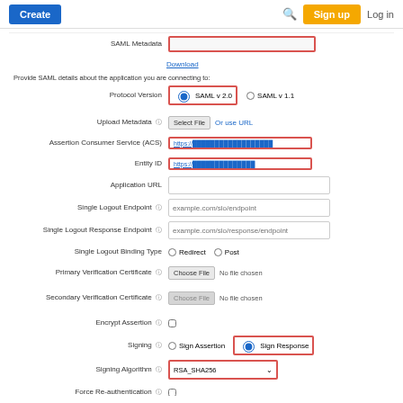[Figure (screenshot): Web application UI screenshot showing a SAML configuration form with navigation bar (Create button, search icon, Sign up button, Log in link) and form fields including SAML Metadata download, Protocol Version (SAML v 2.0 selected), Upload Metadata, Assertion Consumer Service (ACS), Entity ID, Application URL, Single Logout Endpoint, Single Logout Response Endpoint, Single Logout Binding Type, Primary Verification Certificate, Secondary Verification Certificate, Encrypt Assertion checkbox, Signing (Sign Response selected), Signing Algorithm (RSA_SHA256 dropdown), Force Re-authentication checkbox. Several fields are highlighted with red borders.]
Provide SAML details about the application you are connecting to:
SAML Metadata - Download
Protocol Version - SAML v 2.0 (selected), SAML v 1.1
Upload Metadata - Select File, Or use URL
Assertion Consumer Service (ACS) - https://...
Entity ID - https://...
Application URL
Single Logout Endpoint
Single Logout Response Endpoint
Single Logout Binding Type - Redirect, Post
Primary Verification Certificate - Choose File, No file chosen
Secondary Verification Certificate - Choose File, No file chosen
Encrypt Assertion - checkbox
Signing - Sign Assertion, Sign Response (selected)
Signing Algorithm - RSA_SHA256
Force Re-authentication - checkbox
Keep the following in mind when creating your connection:
1. Both SP- and IdP-initiated SSO are allowed
2. Map SAML_SUBJECT in your attribute contract, plus any attributes (configure them in PingOne later)
3. Allow outbound POST or redirect
4. Allow outbound POST